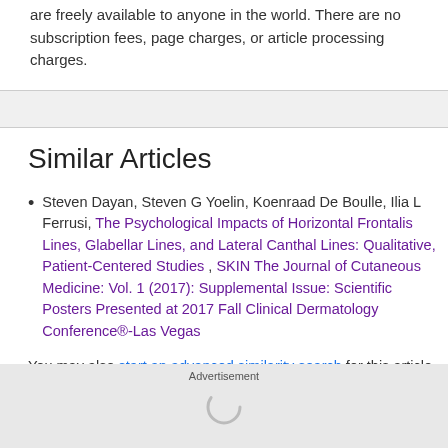are freely available to anyone in the world. There are no subscription fees, page charges, or article processing charges.
Similar Articles
Steven Dayan, Steven G Yoelin, Koenraad De Boulle, Ilia L Ferrusi, The Psychological Impacts of Horizontal Frontalis Lines, Glabellar Lines, and Lateral Canthal Lines: Qualitative, Patient-Centered Studies , SKIN The Journal of Cutaneous Medicine: Vol. 1 (2017): Supplemental Issue: Scientific Posters Presented at 2017 Fall Clinical Dermatology Conference®-Las Vegas
You may also start an advanced similarity search for this article.
Most read articles by the same
Advertisement